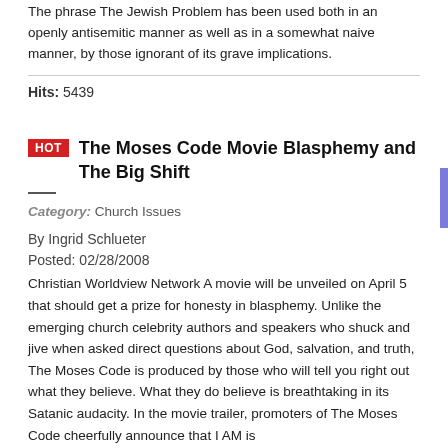The phrase The Jewish Problem has been used both in an openly antisemitic manner as well as in a somewhat naive manner, by those ignorant of its grave implications.
Hits: 5439
HOT The Moses Code Movie Blasphemy and The Big Shift
Category: Church Issues
By Ingrid Schlueter
Posted: 02/28/2008
Christian Worldview Network A movie will be unveiled on April 5 that should get a prize for honesty in blasphemy. Unlike the emerging church celebrity authors and speakers who shuck and jive when asked direct questions about God, salvation, and truth, The Moses Code is produced by those who will tell you right out what they believe. What they do believe is breathtaking in its Satanic audacity. In the movie trailer, promoters of The Moses Code cheerfully announce that I AM is